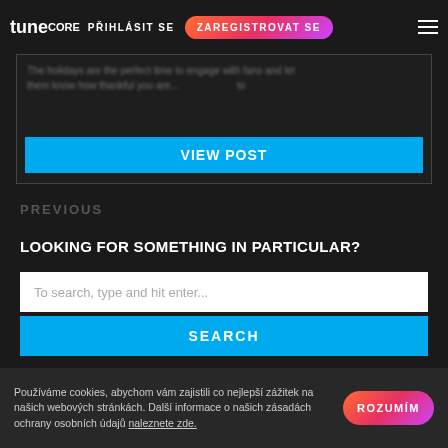tunecore PŘIHLÁSIT SE | ZAREGISTROVAT SE
The holidays are the perfect time to engage with fans and let them know how thankful you are...
VIEW POST
PREVIOUS
LOOKING FOR SOMETHING IN PARTICULAR?
To search, type and hit enter...
SEARCH
OUR PLAYLIST
Používáme cookies, abychom vám zajistili co nejlepší zážitek na našich webových stránkách. Další informace o našich zásadách ochrany osobních údajů naleznete zde.
ROZUMÍM